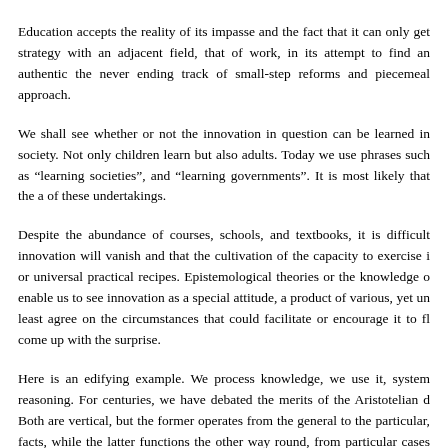Education accepts the reality of its impasse and the fact that it can only get strategy with an adjacent field, that of work, in its attempt to find an authentic the never ending track of small-step reforms and piecemeal approach.
We shall see whether or not the innovation in question can be learned in society. Not only children learn but also adults. Today we use phrases such as “learning societies”, and “learning governments”. It is most likely that the a of these undertakings.
Despite the abundance of courses, schools, and textbooks, it is difficult innovation will vanish and that the cultivation of the capacity to exercise i or universal practical recipes. Epistemological theories or the knowledge o enable us to see innovation as a special attitude, a product of various, yet un least agree on the circumstances that could facilitate or encourage it to fl come up with the surprise.
Here is an edifying example. We process knowledge, we use it, system reasoning. For centuries, we have debated the merits of the Aristotelian d Both are vertical, but the former operates from the general to the particular, facts, while the latter functions the other way round, from particular cases to